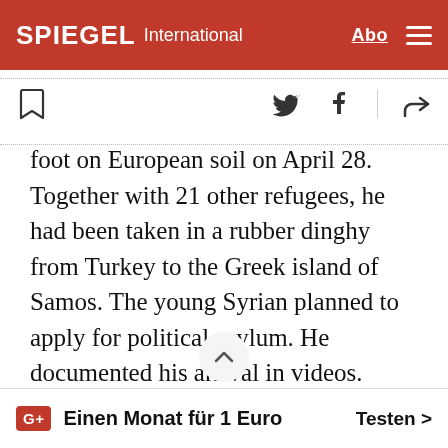SPIEGEL International
foot on European soil on April 28. Together with 21 other refugees, he had been taken in a rubber dinghy from Turkey to the Greek island of Samos. The young Syrian planned to apply for political asylum. He documented his arrival in videos. Local residents also remember the refugees.
Einen Monat für 1 Euro    Testen >